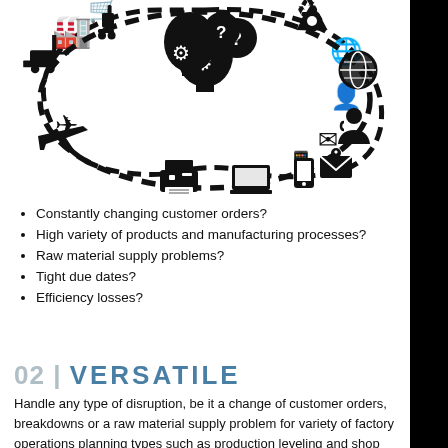[Figure (infographic): Circular dashed-line diagram connecting icons: warehouse/forklift, factory building, airplane, printer, laptop, mobile/phone, envelope/gear, customer service agent, globe, recycle bin, and a thinking head with gears and question mark — depicting a supply chain or manufacturing disruption cycle.]
Constantly changing customer orders?
High variety of products and manufacturing processes?
Raw material supply problems?
Tight due dates?
Efficiency losses?
02 | VERSATILE
Handle any type of disruption, be it a change of customer orders, breakdowns or a raw material supply problem for variety of factory operations planning types such as production leveling and shop floor operations scheduling.